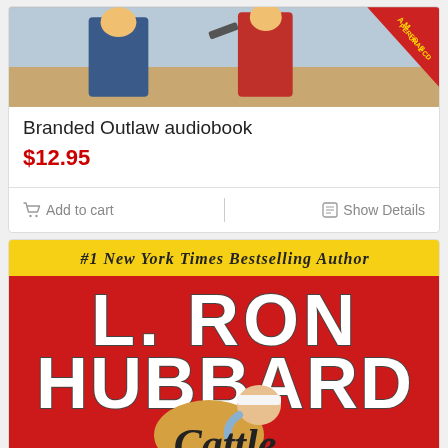[Figure (photo): Top portion of an audiobook cover showing western scene with figures and a gun, with a red corner badge partially visible]
Branded Outlaw audiobook
$12.95
Add to cart
Show Details
[Figure (photo): Book cover for L. Ron Hubbard's 'Cattle' with yellow header band reading '#1 New York Times Bestselling Author', red background, large white text 'L. RON HUBBARD', and image of a man in a cowboy hat leaning forward]